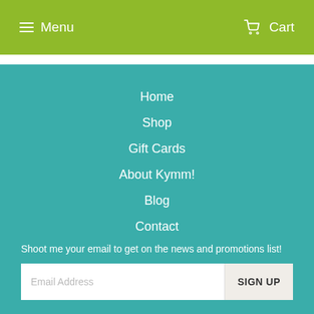Menu   Cart
Home
Shop
Gift Cards
About Kymm!
Blog
Contact
Shoot me your email to get on the news and promotions list!
Email Address   SIGN UP